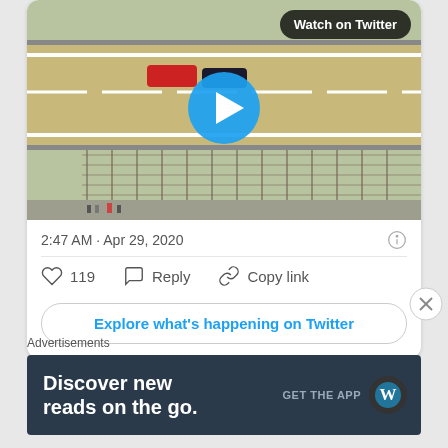[Figure (screenshot): Twitter embedded video showing aerial view of a NASCAR race track with cars on it. A blue play button circle is centered on the image. A 'Watch on Twitter' badge is in the top right corner.]
2:47 AM · Apr 29, 2020
119   Reply   Copy link
Explore what's happening on Twitter
Advertisements
[Figure (screenshot): WordPress advertisement banner: 'Discover new reads on the go.' with GET THE APP and WordPress logo on dark navy background.]